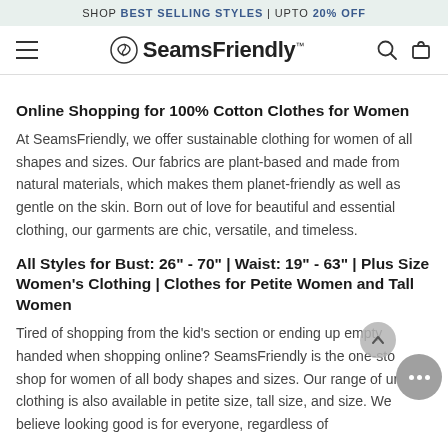SHOP BEST SELLING STYLES | UPTO 20% OFF
[Figure (logo): SeamsFriendly logo with hamburger menu, search icon, and cart icon in navigation bar]
Online Shopping for 100% Cotton Clothes for Women
At SeamsFriendly, we offer sustainable clothing for women of all shapes and sizes. Our fabrics are plant-based and made from natural materials, which makes them planet-friendly as well as gentle on the skin. Born out of love for beautiful and essential clothing, our garments are chic, versatile, and timeless.
All Styles for Bust: 26" - 70" | Waist: 19" - 63" | Plus Size Women's Clothing | Clothes for Petite Women and Tall Women
Tired of shopping from the kid's section or ending up empty handed when shopping online? SeamsFriendly is the one-stop shop for women of all body shapes and sizes. Our range of unique clothing is also available in petite size, tall size, and size. We believe looking good is for everyone, regardless of body type.